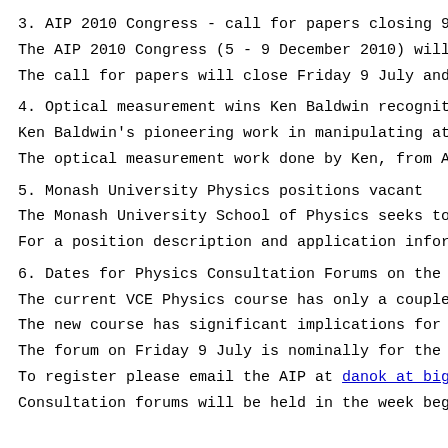3. AIP 2010 Congress - call for papers closing 9 July
The AIP 2010 Congress (5 - 9 December 2010) will be the b
The call for papers will close Friday 9 July and we encou
4. Optical measurement wins Ken Baldwin recognition on Wo
Ken Baldwin's pioneering work in manipulating atoms using
The optical measurement work done by Ken, from ANU, has b
5. Monash University Physics positions vacant
The Monash University School of Physics seeks to appoint
For a position description and application information vi
6. Dates for Physics Consultation Forums on the Draft Cu
The current VCE Physics course has only a couple of years
The new course has significant implications for teachers
The forum on Friday 9 July is nominally for the presenter
To register please email the AIP at danok at bigpond.com-
Consultation forums will be held in the week beginning Mo